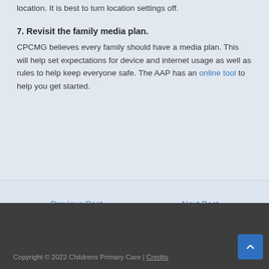location. It is best to turn location settings off.
7. Revisit the family media plan.
CPCMG believes every family should have a media plan. This will help set expectations for device and internet usage as well as rules to help keep everyone safe. The AAP has an online tool to help you get started.
← Previous Post   Next Post →
Copyright © 2022 Childrens Primary Care | Credits